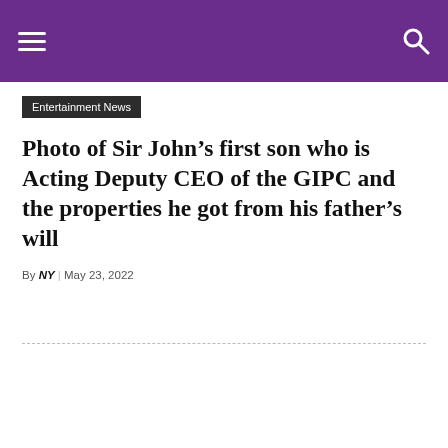Entertainment News
Photo of Sir John’s first son who is Acting Deputy CEO of the GIPC and the properties he got from his father’s will
By NY | May 23, 2022